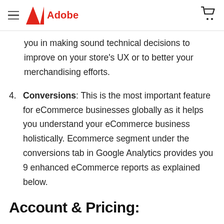Adobe
you in making sound technical decisions to improve on your store's UX or to better your merchandising efforts.
4. Conversions: This is the most important feature for eCommerce businesses globally as it helps you understand your eCommerce business holistically. Ecommerce segment under the conversions tab in Google Analytics provides you 9 enhanced eCommerce reports as explained below.
Account & Pricing: